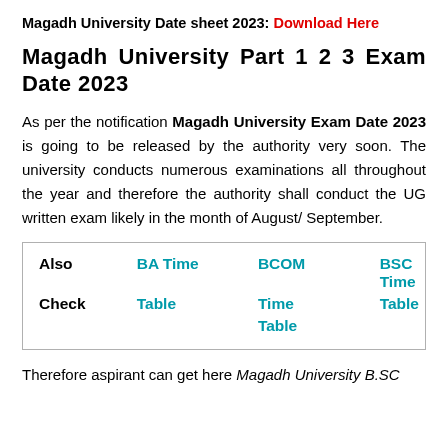Magadh University Date sheet 2023: Download Here
Magadh University Part 1 2 3 Exam Date 2023
As per the notification Magadh University Exam Date 2023 is going to be released by the authority very soon. The university conducts numerous examinations all throughout the year and therefore the authority shall conduct the UG written exam likely in the month of August/ September.
| Also Check | BA Time Table | BCOM Time Table | BSC Time Table |
| --- | --- | --- | --- |
Therefore aspirant can get here Magadh University B.SC